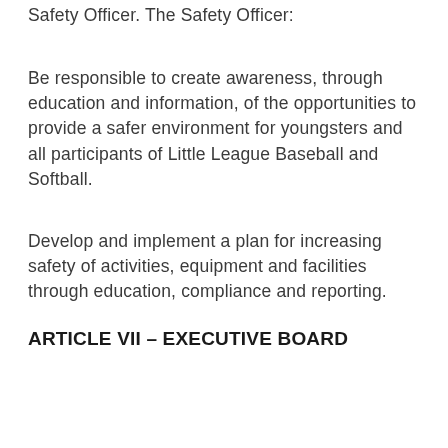Safety Officer. The Safety Officer:
Be responsible to create awareness, through education and information, of the opportunities to provide a safer environment for youngsters and all participants of Little League Baseball and Softball.
Develop and implement a plan for increasing safety of activities, equipment and facilities through education, compliance and reporting.
ARTICLE VII – EXECUTIVE BOARD